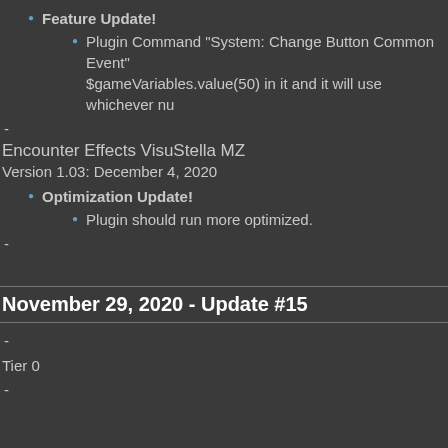Feature Update!
Plugin Command "System: Change Button Common Event" $gameVariables.value(50) in it and it will use whichever nu
-
Encounter Effects VisuStella MZ
Version 1.03: December 4, 2020
Optimization Update!
Plugin should run more optimized.
-
November 29, 2020 - Update #15
-
Tier 0
-